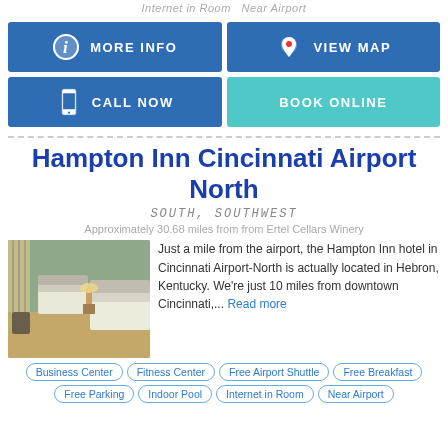Internet in Room  Near Airport
[Figure (infographic): Two-row, two-column button grid: MORE INFO (blue, info icon), VIEW MAP (blue, map pin icon), CALL NOW (blue, phone icon), BOOK ONLINE (teal)]
Hampton Inn Cincinnati Airport North
SOUTH, SOUTHWEST
Approximately 30.68 miles from from Ertel Cellars Winery
Just a mile from the airport, the Hampton Inn hotel in Cincinnati Airport-North is actually located in Hebron, Kentucky. We're just 10 miles from downtown Cincinnati,... Read more
[Figure (photo): Hotel room interior with two beds with white linens, striped curtains, green walls, and carpeted floor]
Business Center
Fitness Center
Free Airport Shuttle
Free Breakfast
Free Parking
Indoor Pool
Internet in Room
Near Airport